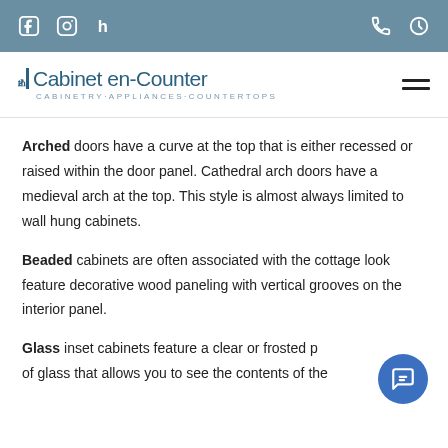The Cabinet en-Counter | CABINETRY·APPLIANCES·COUNTERTOPS
Arched doors have a curve at the top that is either recessed or raised within the door panel. Cathedral arch doors have a medieval arch at the top. This style is almost always limited to wall hung cabinets.
Beaded cabinets are often associated with the cottage look feature decorative wood paneling with vertical grooves on the interior panel.
Glass inset cabinets feature a clear or frosted piece of glass that allows you to see the contents of the